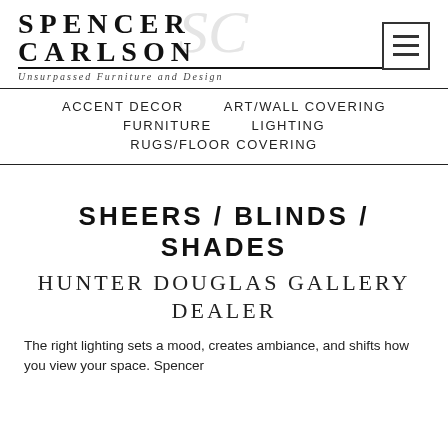SPENCER CARLSON Unsurpassed Furniture and Design
ACCENT DECOR
ART/WALL COVERING
FURNITURE
LIGHTING
RUGS/FLOOR COVERING
SHEERS / BLINDS / SHADES
HUNTER DOUGLAS GALLERY DEALER
The right lighting sets a mood, creates ambiance, and shifts how you view your space. Spencer